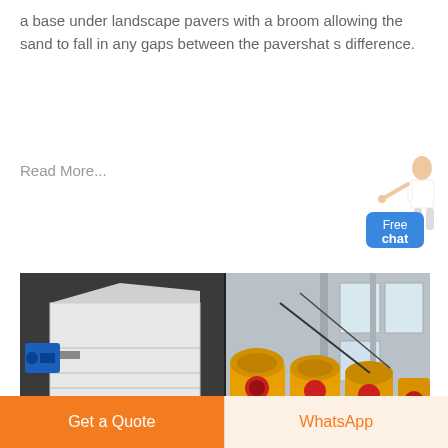a base under landscape pavers with a broom allowing the sand to fall in any gaps between the pavershat s difference.
Read More...
[Figure (photo): Two industrial machine photos side by side: left shows a white industrial machine with blue motor, right shows yellow stone crusher machines in a warehouse. Both have THIOE watermarks.]
difference between quarry and stone crusher
Difference between quarry dust and m sand difference